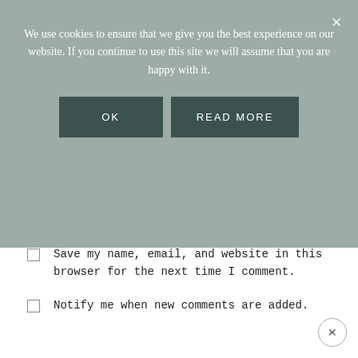We use cookies to ensure that we give you the best experience on our website. If you continue to use this site we will assume that you are happy with it.
OK
READ MORE
Save my name, email, and website in this browser for the next time I comment.
Notify me when new comments are added.
POST COMMENT